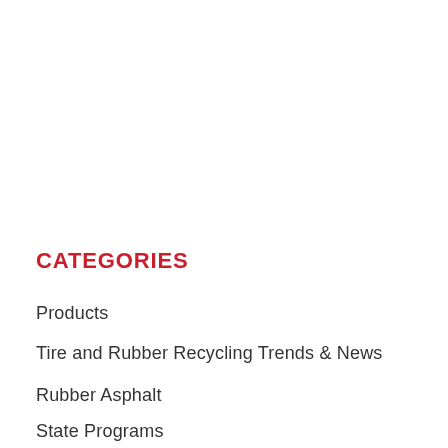CATEGORIES
Products
Tire and Rubber Recycling Trends & News
Rubber Asphalt
State Programs